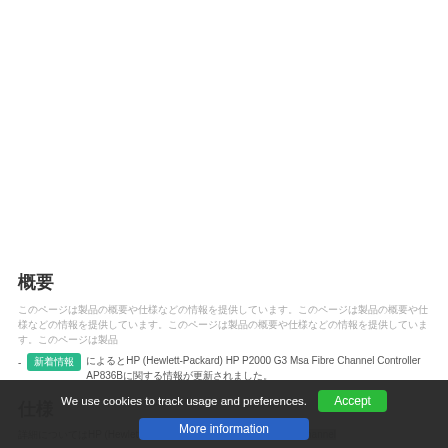概要
このページは製品の概要や仕様などの情報を提供しています。
[新着情報] によるとHP (Hewlett-Packard) HP P2000 G3 Msa Fibre Channel Controller AP836Bに関する情報が更新されました。
仕様
詳細についてはHP (Hewlett-Packard) HP P2000 G3 Msa Fibre Channel